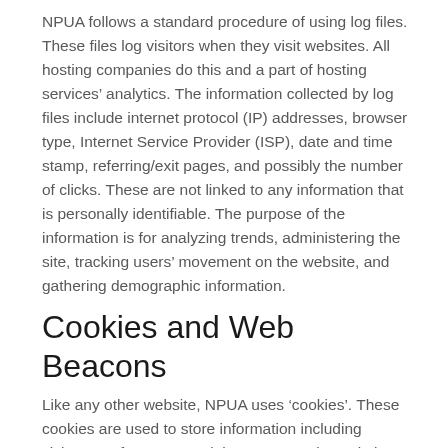NPUA follows a standard procedure of using log files. These files log visitors when they visit websites. All hosting companies do this and a part of hosting services' analytics. The information collected by log files include internet protocol (IP) addresses, browser type, Internet Service Provider (ISP), date and time stamp, referring/exit pages, and possibly the number of clicks. These are not linked to any information that is personally identifiable. The purpose of the information is for analyzing trends, administering the site, tracking users' movement on the website, and gathering demographic information.
Cookies and Web Beacons
Like any other website, NPUA uses ‘cookies’. These cookies are used to store information including visitors’ preferences, and the pages on the website that the visitor accessed or visited. The information